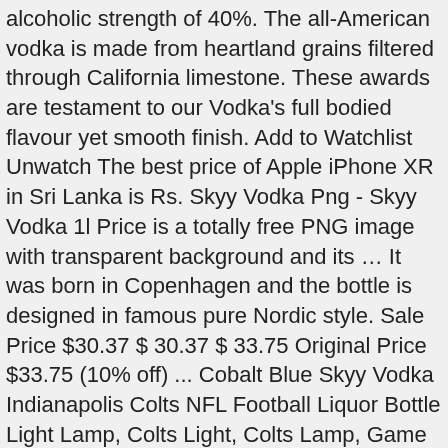alcoholic strength of 40%. The all-American vodka is made from heartland grains filtered through California limestone. These awards are testament to our Vodka's full bodied flavour yet smooth finish. Add to Watchlist Unwatch The best price of Apple iPhone XR in Sri Lanka is Rs. Skyy Vodka Png - Skyy Vodka 1l Price is a totally free PNG image with transparent background and its … It was born in Copenhagen and the bottle is designed in famous pure Nordic style. Sale Price $30.37 $ 30.37 $ 33.75 Original Price $33.75 (10% off) ... Cobalt Blue Skyy Vodka Indianapolis Colts NFL Football Liquor Bottle Light Lamp, Colts Light, Colts Lamp, Game Room, Man Cave, Bar Light booklooks. Call Us-+91-9457657942. +91-9917344428. SKYY MSCI ESG Analytics Insight. Colombo. whiskey drinks, vodka drinks, tequila drinks; our drinks are procured from all corners of the world.So you have the best of choice right here at Gentleman's Rest.You name it, we have it! Smirnoff was the first company to use charcoal as a filter for vodka and to get it's distinct taste. Smirnoff is triple distilled and ten times